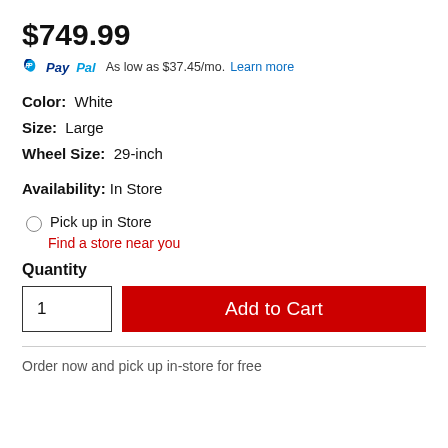$749.99
PayPal As low as $37.45/mo. Learn more
Color: White
Size: Large
Wheel Size: 29-inch
Availability: In Store
Pick up in Store
Find a store near you
Quantity
1   Add to Cart
Order now and pick up in-store for free